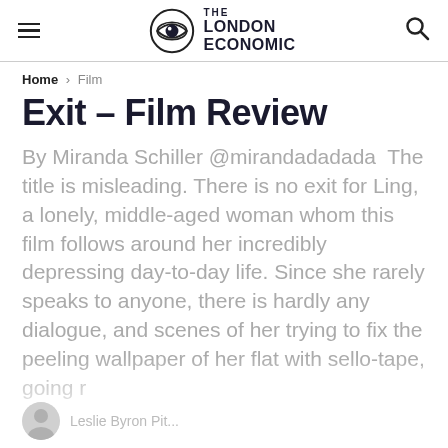THE LONDON ECONOMIC
Home > Film
Exit – Film Review
By Miranda Schiller @mirandadadada  The title is misleading. There is no exit for Ling, a lonely, middle-aged woman whom this film follows around her incredibly depressing day-to-day life. Since she rarely speaks to anyone, there is hardly any dialogue, and scenes of her trying to fix the peeling wallpaper of her flat with sello-tape, going r...
Leslie Byron Pit...